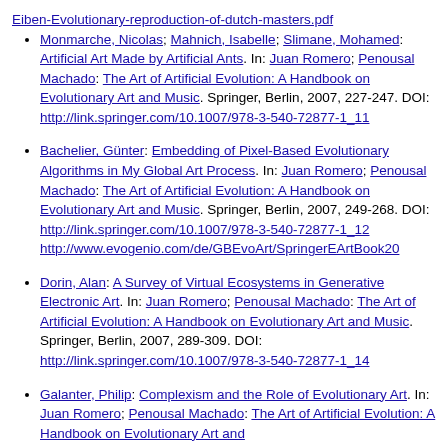Eiben-Evolutionary-reproduction-of-dutch-masters.pdf (link)
Monmarche, Nicolas; Mahnich, Isabelle; Slimane, Mohamed: Artificial Art Made by Artificial Ants. In: Juan Romero; Penousal Machado: The Art of Artificial Evolution: A Handbook on Evolutionary Art and Music. Springer, Berlin, 2007, 227-247. DOI: http://link.springer.com/10.1007/978-3-540-72877-1_11
Bachelier, Günter: Embedding of Pixel-Based Evolutionary Algorithms in My Global Art Process. In: Juan Romero; Penousal Machado: The Art of Artificial Evolution: A Handbook on Evolutionary Art and Music. Springer, Berlin, 2007, 249-268. DOI: http://link.springer.com/10.1007/978-3-540-72877-1_12 http://www.evogenio.com/de/GBEvoArt/SpringerEArtBook20
Dorin, Alan: A Survey of Virtual Ecosystems in Generative Electronic Art. In: Juan Romero; Penousal Machado: The Art of Artificial Evolution: A Handbook on Evolutionary Art and Music. Springer, Berlin, 2007, 289-309. DOI: http://link.springer.com/10.1007/978-3-540-72877-1_14
Galanter, Philip: Complexism and the Role of Evolutionary Art. In: Juan Romero; Penousal Machado: The Art of Artificial Evolution: A Handbook on Evolutionary Art and Music...